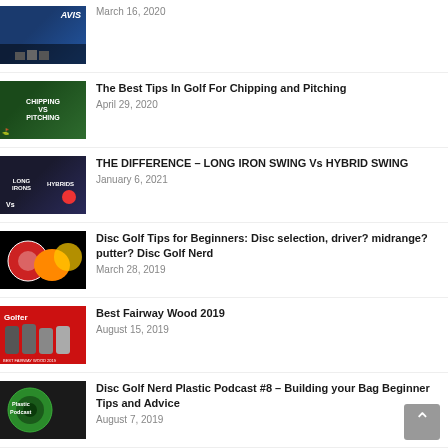March 16, 2020
The Best Tips In Golf For Chipping and Pitching
April 29, 2020
THE DIFFERENCE – LONG IRON SWING Vs HYBRID SWING
January 6, 2021
Disc Golf Tips for Beginners: Disc selection, driver? midrange? putter? Disc Golf Nerd
March 28, 2019
Best Fairway Wood 2019
August 15, 2019
Disc Golf Nerd Plastic Podcast #8 – Building your Bag Beginner Tips and Advice
August 7, 2019